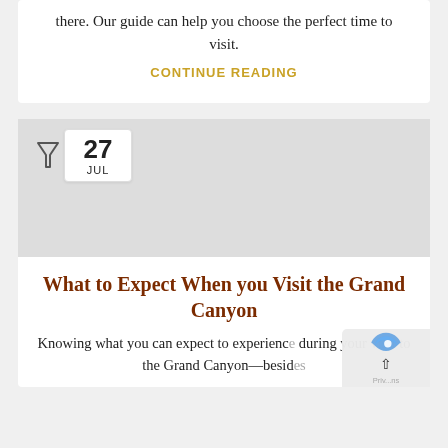there. Our guide can help you choose the perfect time to visit.
CONTINUE READING
[Figure (other): Date badge showing '27 JUL' with a funnel/filter icon to the left]
[Figure (photo): Article thumbnail image placeholder for Grand Canyon article]
What to Expect When you Visit the Grand Canyon
Knowing what you can expect to experience during your visit to the Grand Canyon—besides...